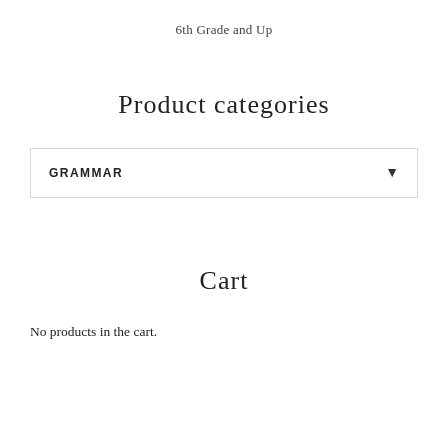6th Grade and Up
Product categories
GRAMMAR ▾
Cart
No products in the cart.